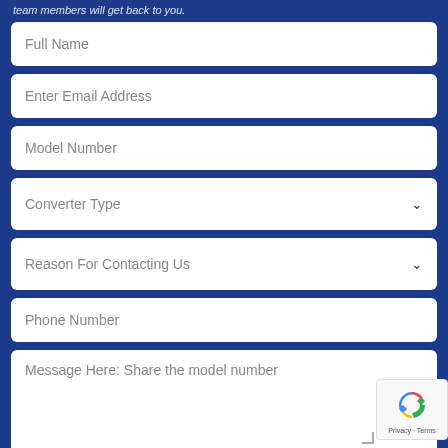team members will get back to you.
Full Name
Enter Email Address
Model Number
Converter Type
Reason For Contacting Us
Phone Number
Message Here: Share the model number
[Figure (logo): reCAPTCHA badge with recycling arrows icon and Privacy - Terms text]